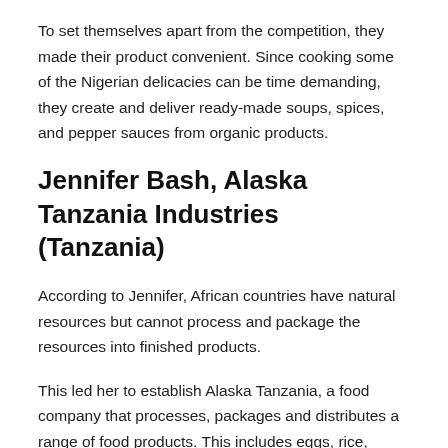To set themselves apart from the competition, they made their product convenient. Since cooking some of the Nigerian delicacies can be time demanding, they create and deliver ready-made soups, spices, and pepper sauces from organic products.
Jennifer Bash, Alaska Tanzania Industries (Tanzania)
According to Jennifer, African countries have natural resources but cannot process and package the resources into finished products.
This led her to establish Alaska Tanzania, a food company that processes, packages and distributes a range of food products. This includes eggs, rice, maize flour, and oil to